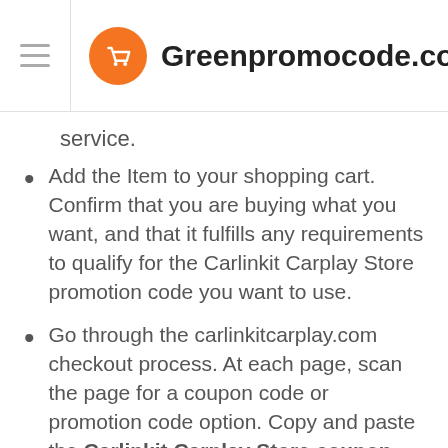Greenpromocode.com
service.
Add the Item to your shopping cart. Confirm that you are buying what you want, and that it fulfills any requirements to qualify for the Carlinkit Carplay Store promotion code you want to use.
Go through the carlinkitcarplay.com checkout process. At each page, scan the page for a coupon code or promotion code option. Copy and paste the Carlinkit Carplay Store coupon code in the box next to the product and click "Apply" or "Submit"...
Scan your shopping cart to confirm that the coupon code was properly entered and is reflected in your total price. The Carlinkit Carplay Store coupon discount